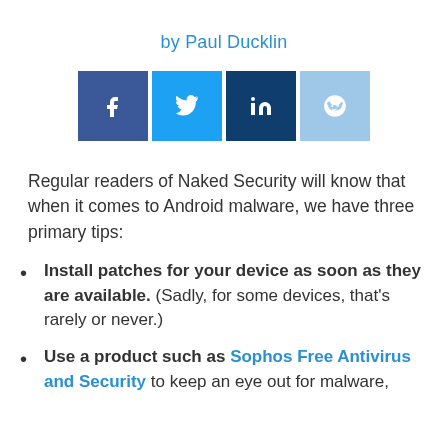by Paul Ducklin
[Figure (illustration): Four social media share buttons: Facebook (dark blue), Twitter (light blue), LinkedIn (dark navy), Reddit (light blue)]
Regular readers of Naked Security will know that when it comes to Android malware, we have three primary tips:
Install patches for your device as soon as they are available. (Sadly, for some devices, that's rarely or never.)
Use a product such as Sophos Free Antivirus and Security to keep an eye out for malware,